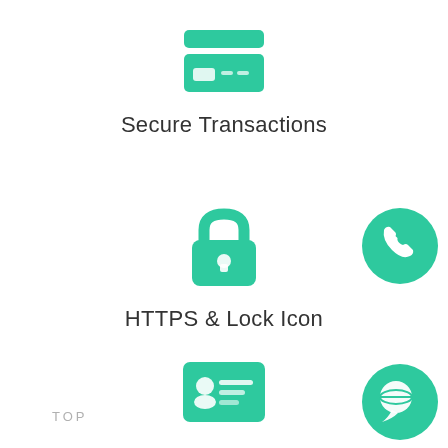[Figure (illustration): Green credit card / secure transaction icon — two horizontal bars resembling a card with chip details]
Secure Transactions
[Figure (illustration): Green padlock icon representing HTTPS security]
HTTPS & Lock Icon
[Figure (illustration): Green circle with white phone handset icon (call button)]
[Figure (illustration): Green ID card / contact card icon]
[Figure (illustration): Green circle with white chat/message bubble icon]
TOP